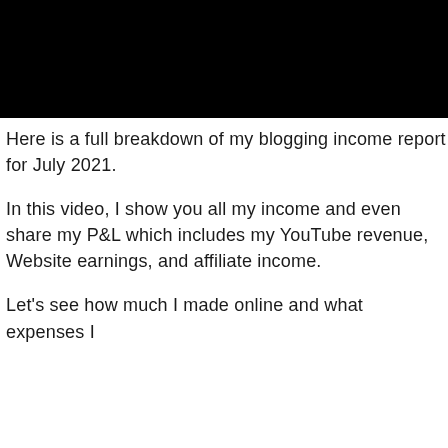[Figure (other): Black header bar at the top of the page]
Here is a full breakdown of my blogging income report for July 2021.
In this video, I show you all my income and even share my P&L which includes my YouTube revenue, Website earnings, and affiliate income.
Let's see how much I made online and what expenses I